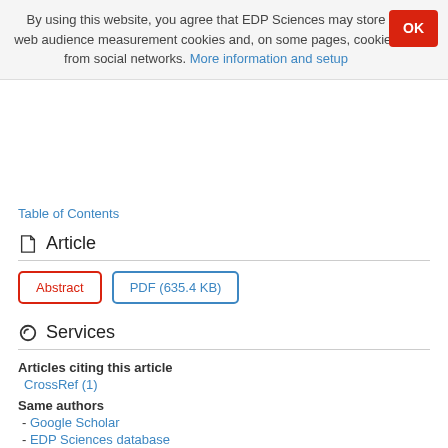By using this website, you agree that EDP Sciences may store web audience measurement cookies and, on some pages, cookies from social networks. More information and setup
Table of Contents
Article
Abstract | PDF (635.4 KB)
Services
Articles citing this article
CrossRef (1)
Same authors
- Google Scholar
- EDP Sciences database
Recommend this article
Send to my Kindle